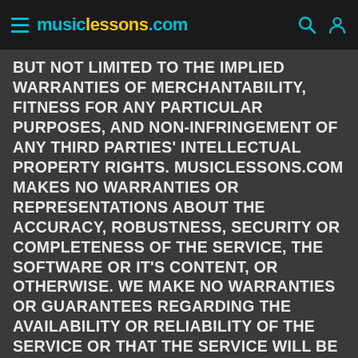musiclessons.com
BUT NOT LIMITED TO THE IMPLIED WARRANTIES OF MERCHANTABILITY, FITNESS FOR ANY PARTICULAR PURPOSES, AND NON-INFRINGEMENT OF ANY THIRD PARTIES' INTELLECTUAL PROPERTY RIGHTS. MUSICLESSONS.COM MAKES NO WARRANTIES OR REPRESENTATIONS ABOUT THE ACCURACY, ROBUSTNESS, SECURITY OR COMPLETENESS OF THE SERVICE, THE SOFTWARE OR IT'S CONTENT, OR OTHERWISE. WE MAKE NO WARRANTIES OR GUARANTEES REGARDING THE AVAILABILITY OR RELIABILITY OF THE SERVICE OR THAT THE SERVICE WILL BE ACCESSIBLE AT ANY SPECIFIC TIME. YOU AGREE THAT YOU ARE NOT RELYING ON, NOR HAVE WE MADE, ANY ORAL REPRESENTATIONS OR WARRANTIES REGARDING